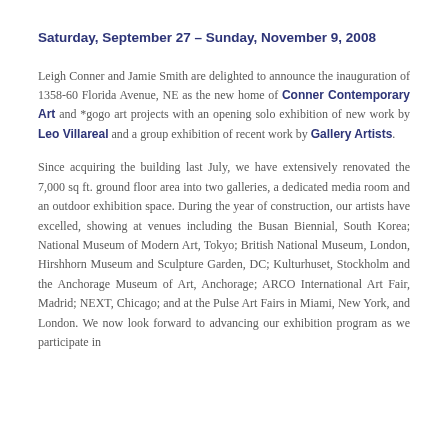Saturday, September 27 – Sunday, November 9, 2008
Leigh Conner and Jamie Smith are delighted to announce the inauguration of 1358-60 Florida Avenue, NE as the new home of Conner Contemporary Art and *gogo art projects with an opening solo exhibition of new work by Leo Villareal and a group exhibition of recent work by Gallery Artists.
Since acquiring the building last July, we have extensively renovated the 7,000 sq ft. ground floor area into two galleries, a dedicated media room and an outdoor exhibition space. During the year of construction, our artists have excelled, showing at venues including the Busan Biennial, South Korea; National Museum of Modern Art, Tokyo; British National Museum, London, Hirshhorn Museum and Sculpture Garden, DC; Kulturhuset, Stockholm and the Anchorage Museum of Art, Anchorage; ARCO International Art Fair, Madrid; NEXT, Chicago; and at the Pulse Art Fairs in Miami, New York, and London. We now look forward to advancing our exhibition program as we participate in